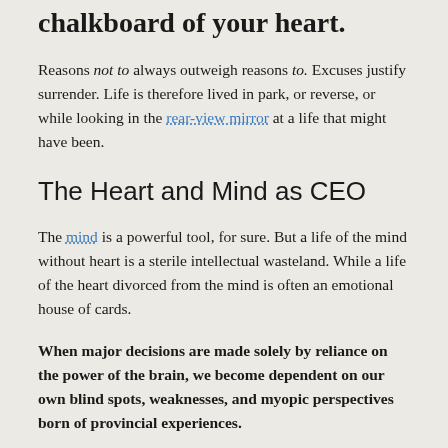chalkboard of your heart.
Reasons not to always outweigh reasons to. Excuses justify surrender. Life is therefore lived in park, or reverse, or while looking in the rear-view mirror at a life that might have been.
The Heart and Mind as CEO
The mind is a powerful tool, for sure. But a life of the mind without heart is a sterile intellectual wasteland. While a life of the heart divorced from the mind is often an emotional house of cards.
When major decisions are made solely by reliance on the power of the brain, we become dependent on our own blind spots, weaknesses, and myopic perspectives born of provincial experiences.